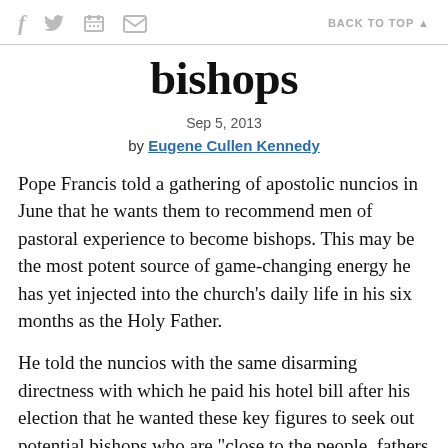f [twitter] [print] [mail]   BACK TO TOP ▲
bishops
Sep 5, 2013
by Eugene Cullen Kennedy
Pope Francis told a gathering of apostolic nuncios in June that he wants them to recommend men of pastoral experience to become bishops. This may be the most potent source of game-changing energy he has yet injected into the church's daily life in his six months as the Holy Father.
He told the nuncios with the same disarming directness with which he paid his hotel bill after his election that he wanted these key figures to seek out potential bishops who are "close to the people, fathers and brothers" as well as "gentle, patient, and